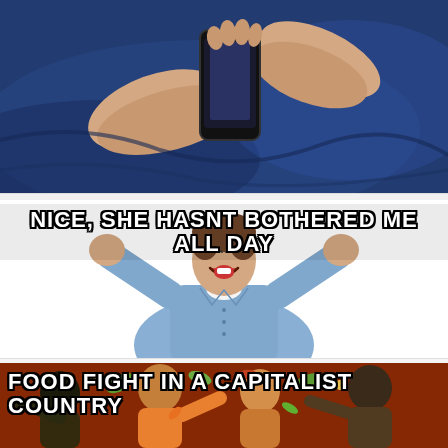[Figure (photo): Close-up photo of a person lying down, holding a smartphone with both hands against a blue fabric/pillow background]
NICE, SHE HASNT BOTHERED ME ALL DAY
[Figure (photo): Photo of a man in a light blue button-up shirt celebrating with both fists raised and mouth open in excitement, white background]
FOOD FIGHT IN A CAPITALIST COUNTRY
[Figure (photo): Photo of people engaged in a food fight, partially visible at bottom of image]